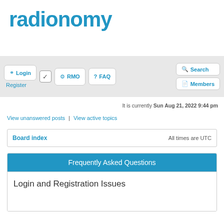[Figure (logo): Radionomy logo in blue text]
Login | Register | RMO | FAQ | Search | Members
It is currently Sun Aug 21, 2022 9:44 pm
View unanswered posts | View active topics
| Board index | All times are UTC |
| --- | --- |
Frequently Asked Questions
Login and Registration Issues